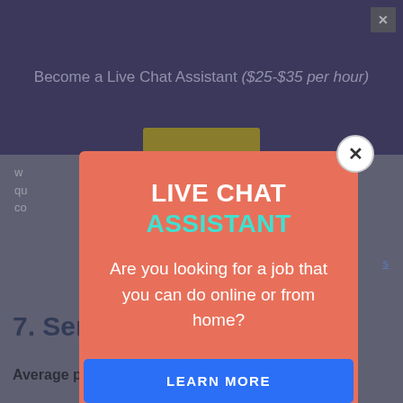Become a Live Chat Assistant ($25-$35 per hour)
[Figure (screenshot): Background webpage with dark navy header showing 'Become a Live Chat Assistant ($25-$35 per hour)' and a close button, with grey body content partially visible]
[Figure (infographic): Popup modal overlay with salmon/coral background containing 'LIVE CHAT ASSISTANT' headline, 'Are you looking for a job that you can do online or from home?' text, and a blue 'LEARN MORE' button with a circular close button in top right]
7. Send TikTok DM’s
Average pay: $30 per hour